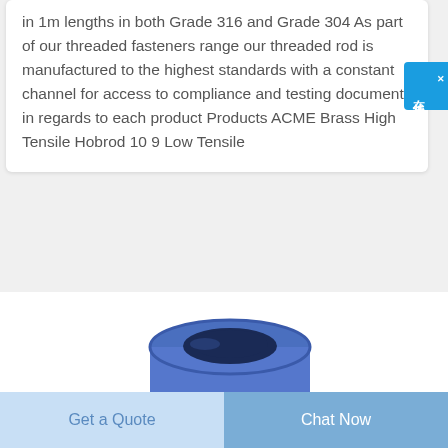in 1m lengths in both Grade 316 and Grade 304 As part of our threaded fasteners range our threaded rod is manufactured to the highest standards with a constant channel for access to compliance and testing documents in regards to each product Products ACME Brass High Tensile Hobrod 10 9 Low Tensile
[Figure (photo): Blue cylindrical fastener/nut product shown from above-side angle, partially visible]
[Figure (photo): Red product partially visible on the right side]